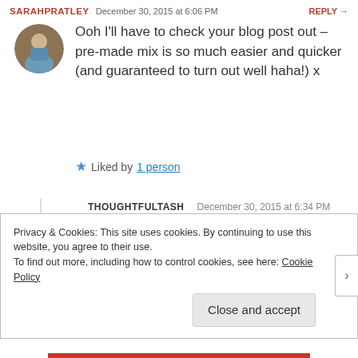SARAHPRATLEY   December 30, 2015 at 6:06 PM   REPLY →
[Figure (photo): Round avatar photo of Sarah Pratley, a woman]
Ooh I'll have to check your blog post out – pre-made mix is so much easier and quicker (and guaranteed to turn out well haha!) x
★ Liked by 1 person
THOUGHTFULTASH   December 30, 2015 at 6:34 PM
[Figure (logo): Round avatar with red geometric pattern for ThoughtfulTash]
Thank you, and yes-I've never made gingerbread before so I
Privacy & Cookies: This site uses cookies. By continuing to use this website, you agree to their use.
To find out more, including how to control cookies, see here: Cookie Policy
Close and accept